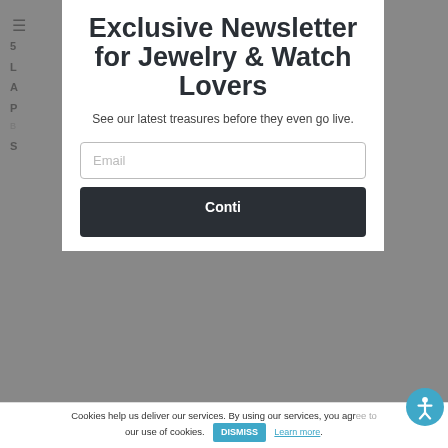Exclusive Newsletter for Jewelry & Watch Lovers
See our latest treasures before they even go live.
Email
Continue
Cookies help us deliver our services. By using our services, you agree to our use of cookies. DISMISS  Learn more.